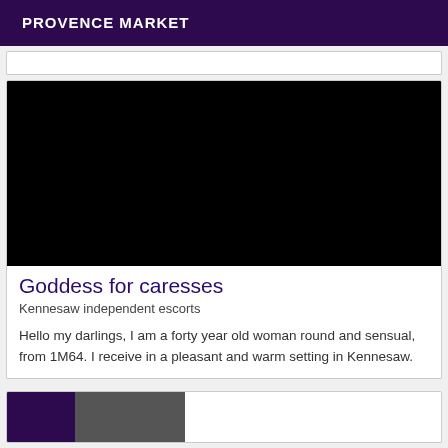PROVENCE MARKET
[Figure (other): Black image placeholder for listing photo]
Goddess for caresses
Kennesaw independent escorts
Hello my darlings, I am a forty year old woman round and sensual, from 1M64. I receive in a pleasant and warm setting in Kennesaw.
[Figure (photo): Partial thumbnail of a second listing with dark purple section on the left and a photo on the right]